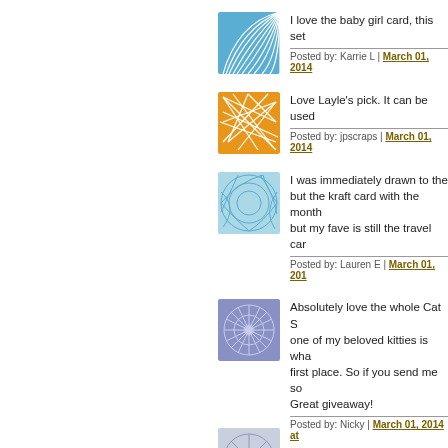[Figure (illustration): Blue fan/wave pattern avatar icon]
I love the baby girl card, this set
Posted by: Karrie L | March 01, 2014
[Figure (illustration): Orange geometric network pattern avatar icon]
Love Layle's pick. It can be used
Posted by: jpscraps | March 01, 2014
[Figure (illustration): Light blue circular web pattern avatar icon]
I was immediately drawn to the but the kraft card with the month but my fave is still the travel car
Posted by: Lauren E | March 01, 201
[Figure (illustration): Purple/blue geometric snowflake pattern avatar icon]
Absolutely love the whole Cat S one of my beloved kitties is wha first place. So if you send me so Great giveaway!
Posted by: Nicky | March 01, 2014 at